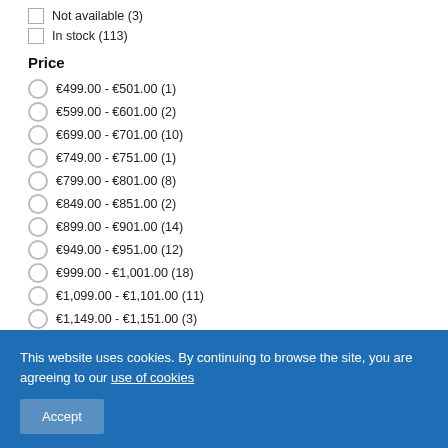Not available (3)
In stock (113)
Price
€499.00 - €501.00 (1)
€599.00 - €601.00 (2)
€699.00 - €701.00 (10)
€749.00 - €751.00 (1)
€799.00 - €801.00 (8)
€849.00 - €851.00 (2)
€899.00 - €901.00 (14)
€949.00 - €951.00 (12)
€999.00 - €1,001.00 (18)
€1,099.00 - €1,101.00 (11)
€1,149.00 - €1,151.00 (3)
€1,199.00 - €1,201.00 (16)
€1,249.00 - €1,251.00 (1)
This website uses cookies. By continuing to browse the site, you are agreeing to our use of cookies
Accept